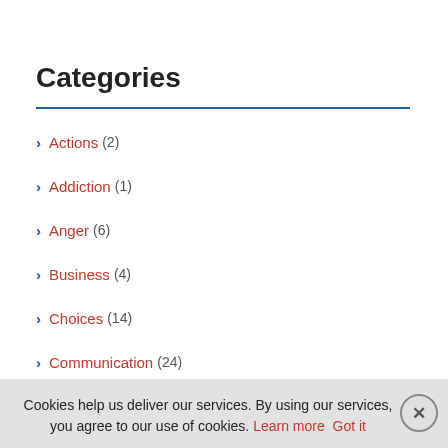Categories
Actions (2)
Addiction (1)
Anger (6)
Business (4)
Choices (14)
Communication (24)
Emotions (9)
Exercise (5)
Filter (1)
Cookies help us deliver our services. By using our services, you agree to our use of cookies. Learn more Got it